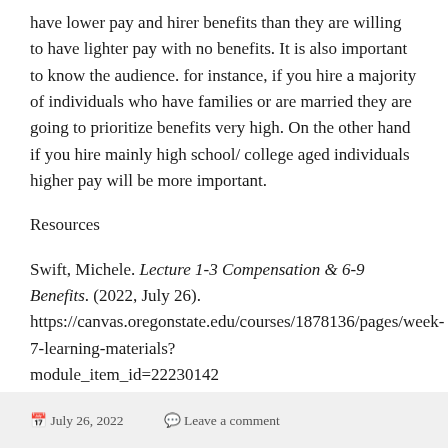have lower pay and hirer benefits than they are willing to have lighter pay with no benefits. It is also important to know the audience. for instance, if you hire a majority of individuals who have families or are married they are going to prioritize benefits very high. On the other hand if you hire mainly high school/ college aged individuals higher pay will be more important.
Resources
Swift, Michele. Lecture 1-3 Compensation & 6-9 Benefits. (2022, July 26). https://canvas.oregonstate.edu/courses/1878136/pages/week-7-learning-materials?module_item_id=22230142
July 26, 2022   Leave a comment